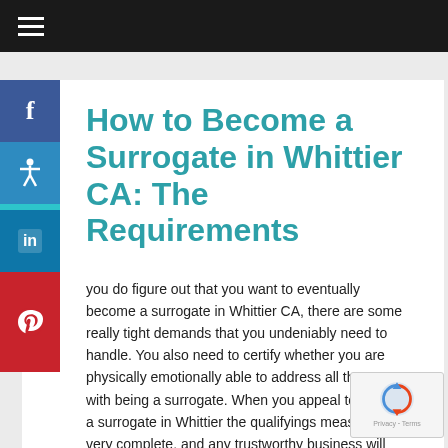≡
How to Become a Surrogate in Whittier CA: The Requirements
you do figure out that you want to eventually become a surrogate in Whittier CA, there are some really tight demands that you undeniably need to handle. You also need to certify whether you are physically emotionally able to address all that comes with being a surrogate. When you appeal to become a surrogate in Whittier the qualifyings measures are very complete, and any trustworthy business will make sure that you do so.